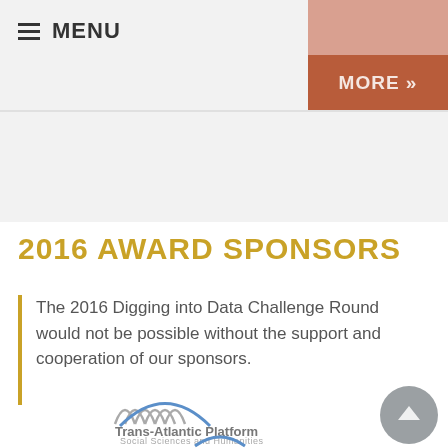≡ MENU
MORE »
2016 AWARD SPONSORS
The 2016 Digging into Data Challenge Round would not be possible without the support and cooperation of our sponsors.
[Figure (logo): Trans-Atlantic Platform Social Sciences and Humanities logo with arch/wave graphic in gray and blue]